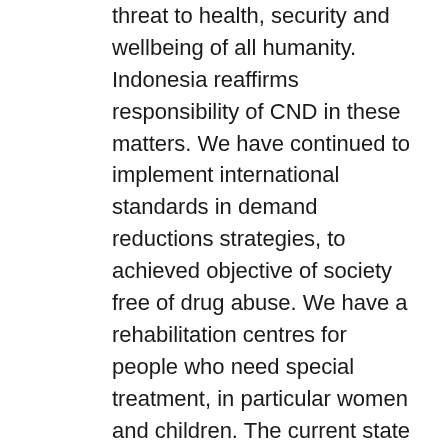threat to health, security and wellbeing of all humanity. Indonesia reaffirms responsibility of CND in these matters. We have continued to implement international standards in demand reductions strategies, to achieved objective of society free of drug abuse. We have a rehabilitation centres for people who need special treatment, in particular women and children. The current state of drug trafficking activities are growing worrisome. These activities remain a threat and require a serious effort. The free flow of people and goods in the region continues to expand, transnational groups see us as a place for crime. Comprehensive efforts must include strict and proper law enforcement efforts, we must have a firm international approach towards transnational groups. The